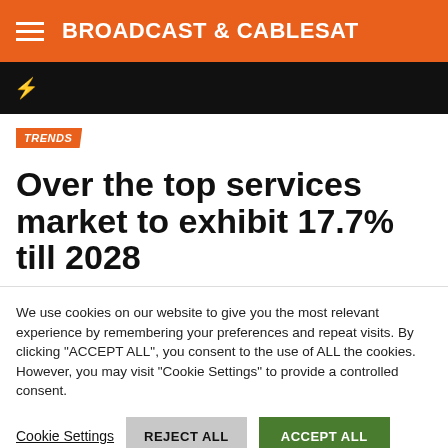BROADCAST & CABLESAT
TRENDS
Over the top services market to exhibit 17.7% till 2028
We use cookies on our website to give you the most relevant experience by remembering your preferences and repeat visits. By clicking "ACCEPT ALL", you consent to the use of ALL the cookies. However, you may visit "Cookie Settings" to provide a controlled consent.
Cookie Settings | REJECT ALL | ACCEPT ALL